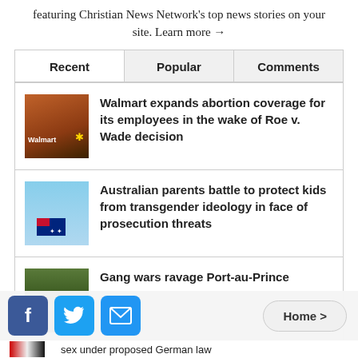featuring Christian News Network's top news stories on your site. Learn more →
| Recent | Popular | Comments |
| --- | --- | --- |
[Figure (photo): Walmart store exterior]
Walmart expands abortion coverage for its employees in the wake of Roe v. Wade decision
[Figure (photo): Australian flag against blue sky]
Australian parents battle to protect kids from transgender ideology in face of prosecution threats
[Figure (photo): Green hillside landscape]
Gang wars ravage Port-au-Prince
[Figure (screenshot): Social share bar with Facebook, Twitter, Email buttons and Home link]
sex under proposed German law